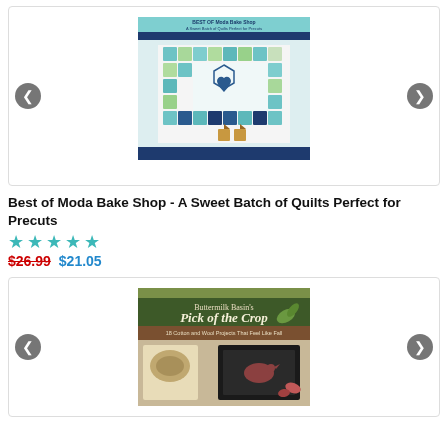[Figure (photo): Book cover for 'Best of Moda Bake Shop - A Sweet Batch of Quilts Perfect for Precuts' showing a quilt with house patterns and teal/green/navy colors, displayed in a product card carousel with left and right navigation arrows.]
Best of Moda Bake Shop - A Sweet Batch of Quilts Perfect for Precuts
★★★★★ $26.99 $21.05
[Figure (photo): Book cover for 'Buttermilk Basin's Pick of the Crop - 18 Cotton and Wool Projects That Feel Like Fall' showing a dark green background with autumn-themed craft projects, displayed in a product card carousel with left and right navigation arrows.]